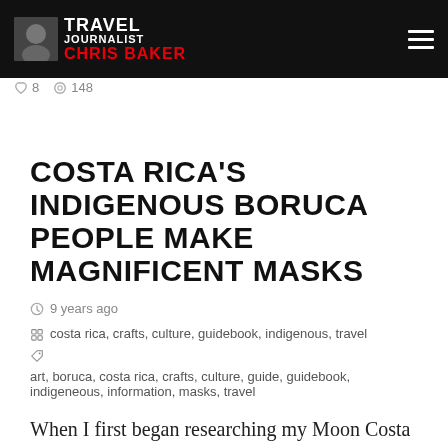Travel Journalist Chris Baker
8  148
COSTA RICA'S INDIGENOUS BORUCA PEOPLE MAKE MAGNIFICENT MASKS
9 years ago
costa rica, crafts, culture, guidebook, indigenous, travel
art, boruca, costa rica, crafts, culture, guide, guidebook, indigeneous, information, masks, travel
When I first began researching my Moon Costa Rica guidebook two decades ago, I don't ever recall having seen Boruca masks. Today, these distinctive cultural icons are ubiquitous throughout Costa